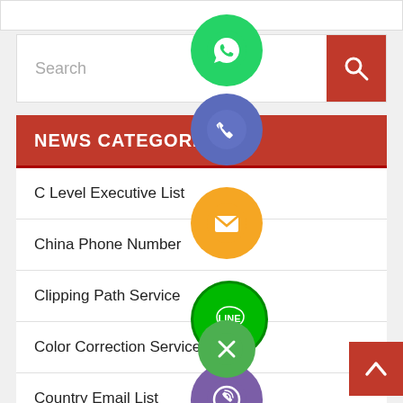[Figure (screenshot): Website sidebar screenshot showing a search bar, News Categories section header in red, and a list of category links including C Level Executive List, China Phone Number, Clipping Path Service, Color Correction Service, Country Email List. Floating social media icons (WhatsApp, Phone, Email/Message, LINE, Viber, Close) overlay the content.]
C Level Executive List
China Phone Number
Clipping Path Service
Color Correction Service
Country Email List